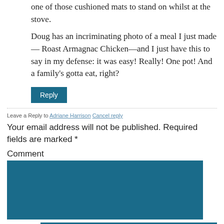one of those cushioned mats to stand on whilst at the stove.
Doug has an incriminating photo of a meal I just made — Roast Armagnac Chicken—and I just have this to say in my defense: it was easy! Really! One pot! And a family's gotta eat, right?
Reply
Leave a Reply to Adriane Harrison Cancel reply
Your email address will not be published. Required fields are marked *
Comment
Name *